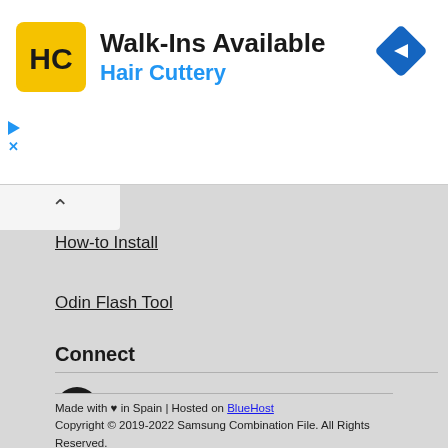[Figure (illustration): Hair Cuttery advertisement banner with yellow HC logo, 'Walk-Ins Available' headline, 'Hair Cuttery' subtitle in blue, and a blue navigation/directions icon on the right.]
How-to Install
Odin Flash Tool
Connect
[Figure (logo): Black circular RSS/feed icon]
Made with ♥ in Spain | Hosted on BlueHost
Copyright © 2019-2022 Samsung Combination File. All Rights Reserved.